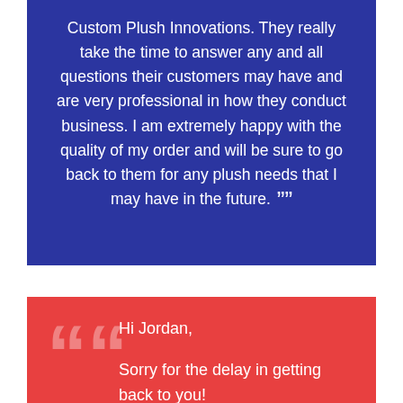Custom Plush Innovations. They really take the time to answer any and all questions their customers may have and are very professional in how they conduct business. I am extremely happy with the quality of my order and will be sure to go back to them for any plush needs that I may have in the future. ””
““ Hi Jordan, Sorry for the delay in getting back to you! We were very satisfied with the level of